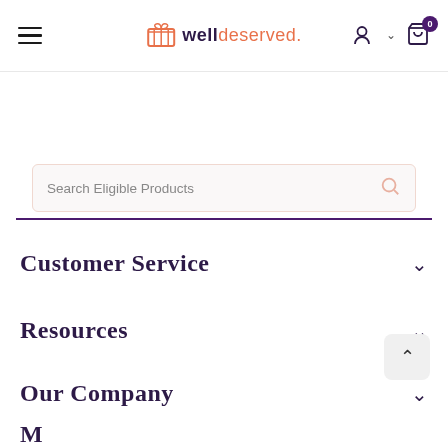[Figure (logo): WellDeserved logo with gift box icon, hamburger menu, user icon, and cart with badge showing 0]
Search Eligible Products
Customer Service
Resources
Our Company
M...